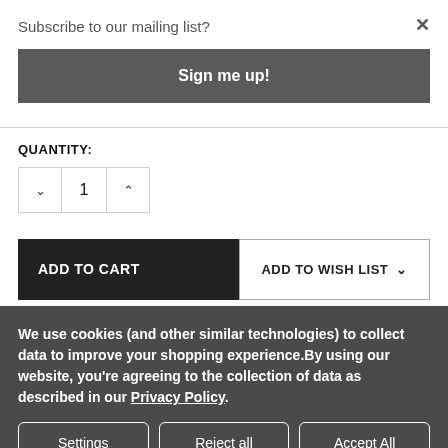Subscribe to our mailing list?
×
Sign me up!
QUANTITY:
1
ADD TO CART
ADD TO WISH LIST
We use cookies (and other similar technologies) to collect data to improve your shopping experience.By using our website, you're agreeing to the collection of data as described in our Privacy Policy.
Settings
Reject all
Accept All Cookies